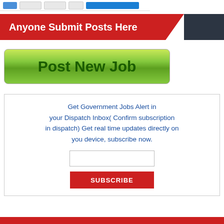[Figure (screenshot): Top navigation bar area with small buttons including blue, gray, and a large blue button]
Anyone Submit Posts Here
[Figure (screenshot): Green gradient button labeled Post New Job]
Get Government Jobs Alert in your Dispatch Inbox( Confirm subscription in dispatch) Get real time updates directly on you device, subscribe now.
[Figure (screenshot): Email input field and SUBSCRIBE button in red]